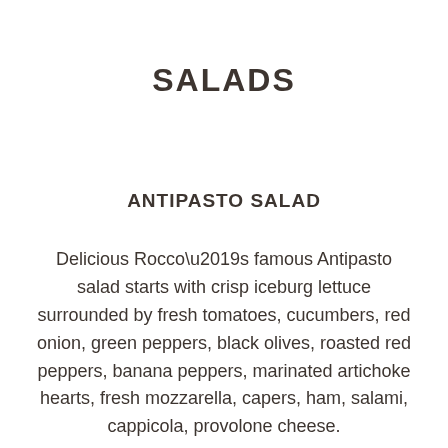SALADS
ANTIPASTO SALAD
Delicious Rocco’s famous Antipasto salad starts with crisp iceburg lettuce surrounded by fresh tomatoes, cucumbers, red onion, green peppers, black olives, roasted red peppers, banana peppers, marinated artichoke hearts, fresh mozzarella, capers, ham, salami, cappicola, provolone cheese.